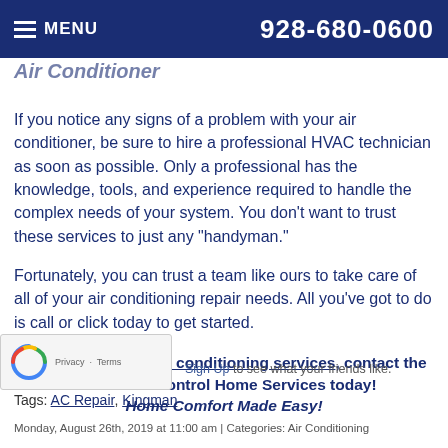MENU | 928-680-0600
Air Conditioner (partial, clipped)
If you notice any signs of a problem with your air conditioner, be sure to hire a professional HVAC technician as soon as possible. Only a professional has the knowledge, tools, and experience required to handle the complex needs of your system. You don’t want to trust these services to just any “handyman.”
Fortunately, you can trust a team like ours to take care of all of your air conditioning repair needs. All you’ve got to do is call or click today to get started.
To schedule your air conditioning services, contact the team at Air Control Home Services today! Home Comfort Made Easy!
Sign Up to see what your friends like.
Tags: AC Repair, Kingman
Monday, August 26th, 2019 at 11:00 am | Categories: Air Conditioning